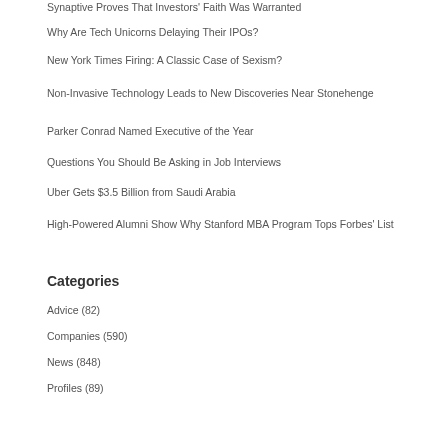Synaptive Proves That Investors' Faith Was Warranted
Why Are Tech Unicorns Delaying Their IPOs?
New York Times Firing: A Classic Case of Sexism?
Non-Invasive Technology Leads to New Discoveries Near Stonehenge
Parker Conrad Named Executive of the Year
Questions You Should Be Asking in Job Interviews
Uber Gets $3.5 Billion from Saudi Arabia
High-Powered Alumni Show Why Stanford MBA Program Tops Forbes' List
Categories
Advice (82)
Companies (590)
News (848)
Profiles (89)